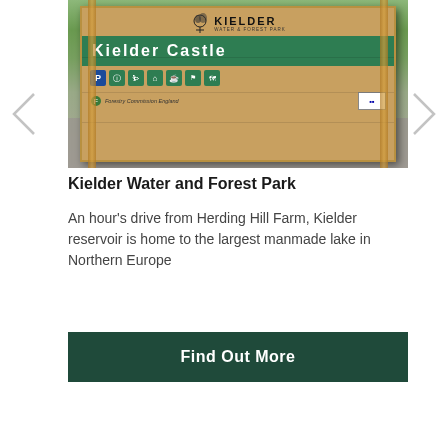[Figure (photo): A wooden signpost for Kielder Castle at Kielder Water & Forest Park, showing a green banner reading 'Kielder Castle' with various amenity icons and a Forestry Commission England logo, set against foliage background]
Kielder Water and Forest Park
An hour's drive from Herding Hill Farm, Kielder reservoir is home to the largest manmade lake in Northern Europe
Find Out More